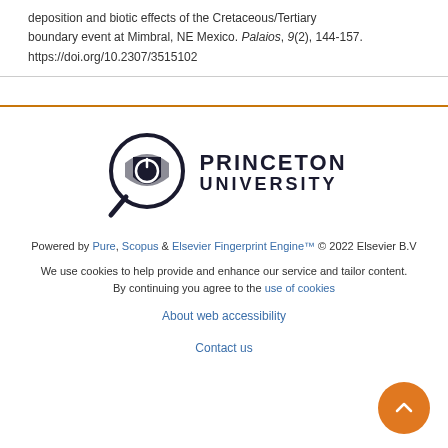deposition and biotic effects of the Cretaceous/Tertiary boundary event at Mimbral, NE Mexico. Palaios, 9(2), 144-157. https://doi.org/10.2307/3515102
[Figure (logo): Princeton University logo with magnifying glass icon and university name in bold text]
Powered by Pure, Scopus & Elsevier Fingerprint Engine™ © 2022 Elsevier B.V
We use cookies to help provide and enhance our service and tailor content. By continuing you agree to the use of cookies
About web accessibility
Contact us